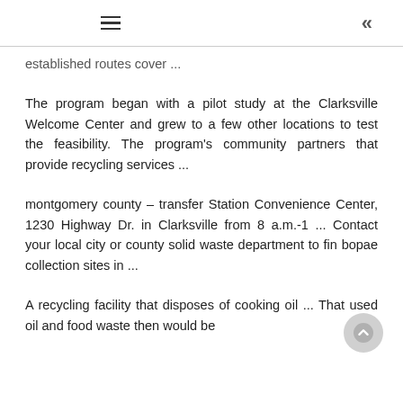≡  «
established routes cover ...
The program began with a pilot study at the Clarksville Welcome Center and grew to a few other locations to test the feasibility. The program's community partners that provide recycling services ...
montgomery county – transfer Station Convenience Center, 1230 Highway Dr. in Clarksville from 8 a.m.-1 ... Contact your local city or county solid waste department to find bopae collection sites in ...
A recycling facility that disposes of cooking oil ... That used oil and food waste then would be